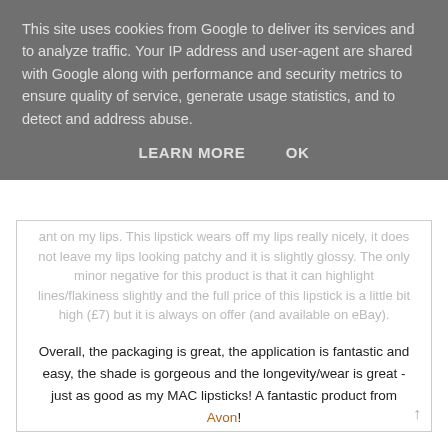This site uses cookies from Google to deliver its services and to analyze traffic. Your IP address and user-agent are shared with Google along with performance and security metrics to ensure quality of service, generate usage statistics, and to detect and address abuse.
LEARN MORE   OK
ant on my lips. This lipstick wears off my lips really nicely, it does not leave my lips looking patchy and it is slightly glossy. The only minor negative for this product is that it can highlight lines/flakiness slightly and the full price of this lipstick is a little bit high (£7) but it is always on offer (and available on eBay).
Overall, the packaging is great, the application is fantastic and easy, the shade is gorgeous and the longevity/wear is great - just as good as my MAC lipsticks! A fantastic product from Avon!